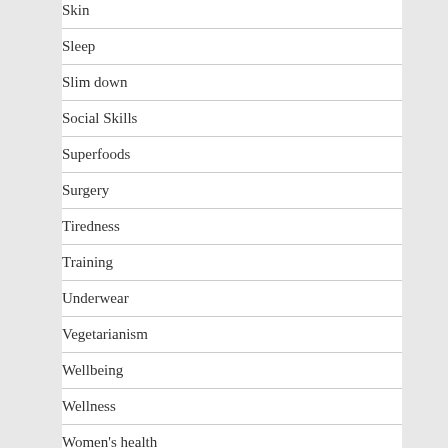Skin
Sleep
Slim down
Social Skills
Superfoods
Surgery
Tiredness
Training
Underwear
Vegetarianism
Wellbeing
Wellness
Women's health